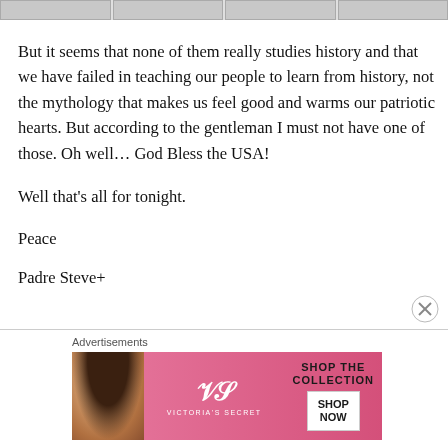[Figure (photo): Row of four grayscale thumbnail images at the top of the page]
But it seems that none of them really studies history and that we have failed in teaching our people to learn from history, not the mythology that makes us feel good and warms our patriotic hearts. But according to the gentleman I must not have one of those. Oh well… God Bless the USA!
Well that's all for tonight.
Peace
Padre Steve+
[Figure (photo): Victoria's Secret advertisement banner with woman photo, VS logo, 'SHOP THE COLLECTION' text, and 'SHOP NOW' button]